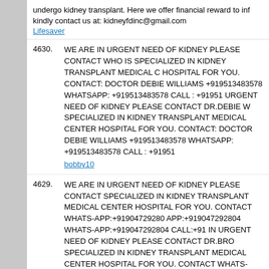undergo kidney transplant. Here we offer financial reward to inf kindly contact us at: kidneyfdinc@gmail.com
Lifesaver
4630. WE ARE IN URGENT NEED OF KIDNEY PLEASE CONTACT WHO IS SPECIALIZED IN KIDNEY TRANSPLANT MEDICAL C HOSPITAL FOR YOU. CONTACT: DOCTOR DEBIE WILLIAMS +919513483578 WHATSAPP: +919513483578 CALL : +91951 URGENT NEED OF KIDNEY PLEASE CONTACT DR.DEBIE W SPECIALIZED IN KIDNEY TRANSPLANT MEDICAL CENTER HOSPITAL FOR YOU. CONTACT: DOCTOR DEBIE WILLIAMS +919513483578 WHATSAPP: +919513483578 CALL : +91951 bobby10
4629. WE ARE IN URGENT NEED OF KIDNEY PLEASE CONTACT SPECIALIZED IN KIDNEY TRANSPLANT MEDICAL CENTER HOSPITAL FOR YOU. CONTACT WHATS-APP:+91904729280 APP:+919047292804 WHATS-APP:+919047292804 CALL:+91 IN URGENT NEED OF KIDNEY PLEASE CONTACT DR.BRO SPECIALIZED IN KIDNEY TRANSPLANT MEDICAL CENTER HOSPITAL FOR YOU. CONTACT WHATS-APP:+91904729280 APP:+919047292804 WHATS-APP:+919047292804 CALL:+91 bobby10
4628. WE ARE IN URGENT NEED OF KIDNEY PLEASE CONTACT SPECIALIZED IN KIDNEY TRANSPLANT MEDICAL CENTER HOSPITAL FOR YOU. CONTACT WHATS-APP: +91730559024 +917305590241 CALL : +917305590241 WE ARE IN URGENT PLEASE CONTACT DR.BROWN WHO IS SPECIALIZED IN K MEDICAL CENTER IS THE BEST HOSPITAL FOR YOU. CON +917305590241 WHATS-APP: +917305590241 CALL : +91730 bobby10